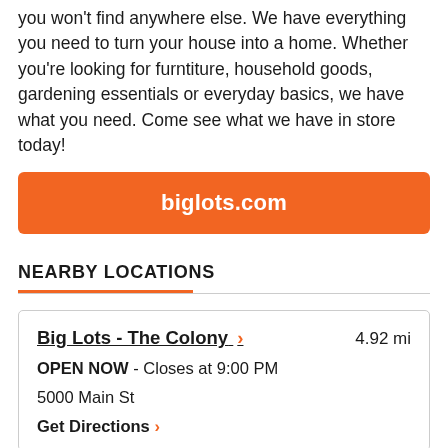you won't find anywhere else. We have everything you need to turn your house into a home. Whether you're looking for furntiture, household goods, gardening essentials or everyday basics, we have what you need. Come see what we have in store today!
biglots.com
NEARBY LOCATIONS
Big Lots - The Colony > 4.92 mi OPEN NOW - Closes at 9:00 PM 5000 Main St Get Directions >